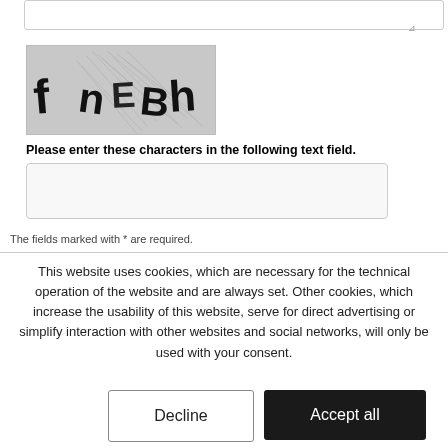[Figure (other): CAPTCHA image showing distorted text characters 'f nEBh' on a grey background with diagonal line noise]
Please enter these characters in the following text field.
The fields marked with * are required.
This website uses cookies, which are necessary for the technical operation of the website and are always set. Other cookies, which increase the usability of this website, serve for direct advertising or simplify interaction with other websites and social networks, will only be used with your consent.